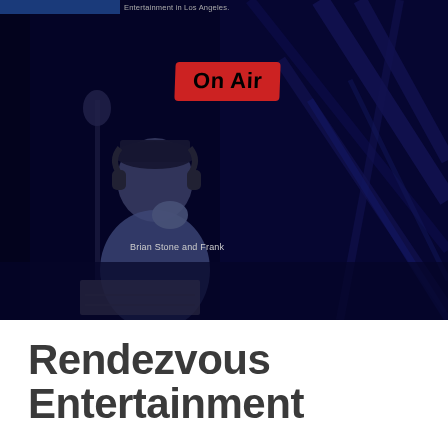Entertainment in Los Angeles.
[Figure (photo): Dark blue-tinted photo of a radio broadcaster wearing headphones and sitting at a microphone, with a red 'On Air' sign illuminated in the background. Person identified as Brian Stone and Frank.]
Brian Stone and Frank
Rendezvous Entertainment